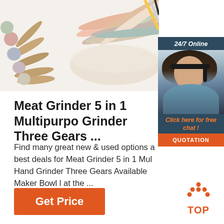[Figure (photo): Colorful silicone spoons and spatulas fanned out against a white background]
[Figure (infographic): 24/7 Online chat widget with a female customer service representative wearing a headset, orange 'Click here for free chat!' text, and orange QUOTATION button]
Meat Grinder 5 in 1 Multipurpo Grinder Three Gears ...
Find many great new & used options a best deals for Meat Grinder 5 in 1 Mul Hand Grinder Three Gears Available Maker Bowl l at the ...
[Figure (infographic): Orange 'Get Price' button at bottom left]
[Figure (infographic): Orange 'TOP' button with upward pointing arrow icon at bottom right]